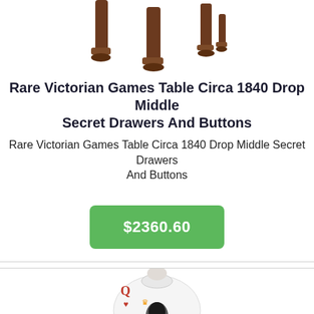[Figure (photo): Partial top view of a Victorian antique wooden table showing legs and feet, cropped at top]
Rare Victorian Games Table Circa 1840 Drop Middle Secret Drawers And Buttons
Rare Victorian Games Table Circa 1840 Drop Middle Secret Drawers And Buttons
$2360.60
[Figure (photo): White sweater/jumper with Queen of Hearts playing card graphic design showing a queen character with crown]